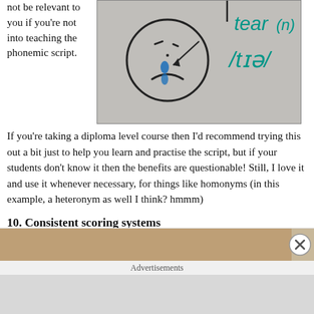not be relevant to you if you're not into teaching the phonemic script.
[Figure (photo): Whiteboard drawing showing a sad face with tears drawn in blue, and the word 'tear' written in teal with phonemic transcription /tɪə/ below it, with (n) notation]
If you're taking a diploma level course then I'd recommend trying this out a bit just to help you learn and practise the script, but if your students don't know it then the benefits are questionable! Still, I love it and use it whenever necessary, for things like homonyms (in this example, a heteronym as well I think? hmmm)
10. Consistent scoring systems
Following
[Figure (photo): Partial image of a document or scoring sheet, partially obscured by advertisement overlay]
Advertisements